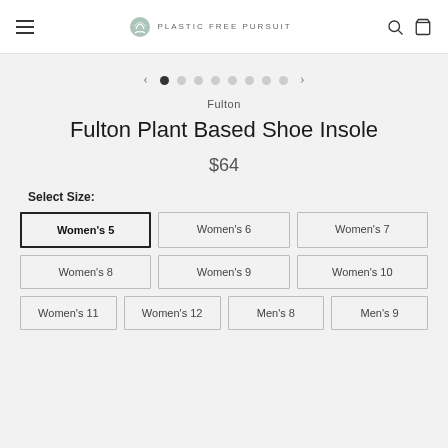Plastic Free Pursuit
[Figure (other): Carousel dot navigation with left and right arrows and 8 dots, first dot active]
Fulton
Fulton Plant Based Shoe Insole
$64
Select Size:
Women's 5, Women's 6, Women's 7, Women's 8, Women's 9, Women's 10, Women's 11, Women's 12, Men's 8, Men's 9